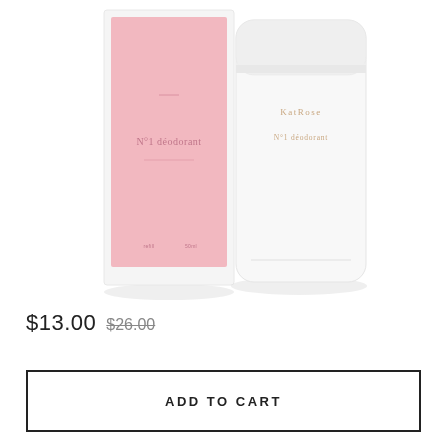[Figure (photo): Two deodorant products side by side: left is a pink flat card/refill packaging labeled 'N°1 déodorant', right is a white cylindrical deodorant stick container with gold text reading 'KatRose N°1 deodorant']
$13.00 $26.00
ADD TO CART